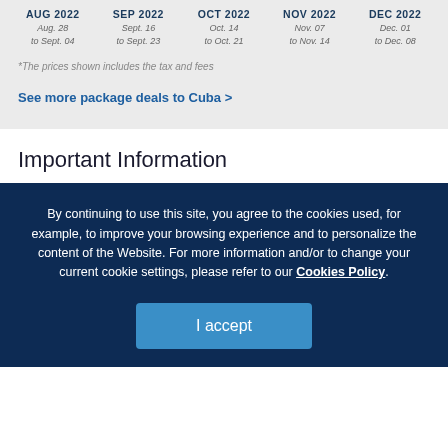| AUG 2022 | SEP 2022 | OCT 2022 | NOV 2022 | DEC 2022 |
| --- | --- | --- | --- | --- |
| Aug. 28 to Sept. 04 | Sept. 16 to Sept. 23 | Oct. 14 to Oct. 21 | Nov. 07 to Nov. 14 | Dec. 01 to Dec. 08 |
*The prices shown includes the tax and fees
See more package deals to Cuba >
Important Information
By continuing to use this site, you agree to the cookies used, for example, to improve your browsing experience and to personalize the content of the Website. For more information and/or to change your current cookie settings, please refer to our Cookies Policy.
I accept